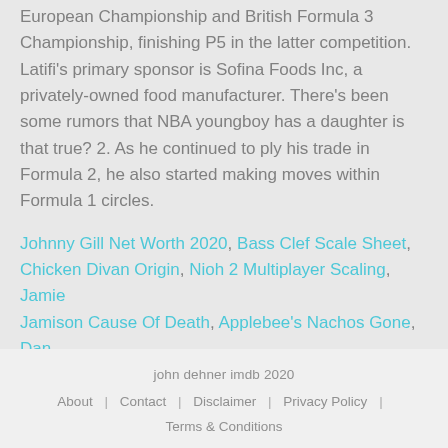European Championship and British Formula 3 Championship, finishing P5 in the latter competition. Latifi's primary sponsor is Sofina Foods Inc, a privately-owned food manufacturer. There's been some rumors that NBA youngboy has a daughter is that true? 2. As he continued to ply his trade in Formula 2, he also started making moves within Formula 1 circles.
Johnny Gill Net Worth 2020, Bass Clef Scale Sheet, Chicken Divan Origin, Nioh 2 Multiplayer Scaling, Jamie Jamison Cause Of Death, Applebee's Nachos Gone, Dan Cohen Les Mills,
john dehner imdb 2020 | About | Contact | Disclaimer | Privacy Policy | Terms & Conditions